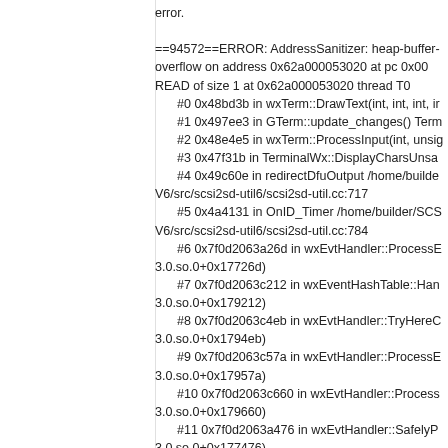error.

==94572==ERROR: AddressSanitizer: heap-buffer-overflow on address 0x62a000053020 at pc 0x00...
READ of size 1 at 0x62a000053020 thread T0
    #0 0x48bd3b in wxTerm::DrawText(int, int, int, ir...
    #1 0x497ee3 in GTerm::update_changes() Term...
    #2 0x48e4e5 in wxTerm::ProcessInput(int, unsig...
    #3 0x47f31b in TerminalWx::DisplayCharsUnsa...
    #4 0x49c60e in redirectDfuOutput /home/builde... V6/src/scsi2sd-util6/scsi2sd-util.cc:717
    #5 0x4a4131 in OnID_Timer /home/builder/SCS... V6/src/scsi2sd-util6/scsi2sd-util.cc:784
    #6 0x7f0d2063a26d in wxEvtHandler::ProcessE... 3.0.so.0+0x17726d)
    #7 0x7f0d2063c212 in wxEventHashTable::Han... 3.0.so.0+0x179212)
    #8 0x7f0d2063c4eb in wxEvtHandler::TryHereO... 3.0.so.0+0x1794eb)
    #9 0x7f0d2063c57a in wxEvtHandler::ProcessE... 3.0.so.0+0x17957a)
    #10 0x7f0d2063c660 in wxEvtHandler::Process... 3.0.so.0+0x179660)
    #11 0x7f0d2063a476 in wxEvtHandler::SafelyP... 3.0.so.0+0x177476)
    #12 0x7f0d205dd9af in wxTimerImpl::SendEver... 3.0.so.0+0x11a9af)
    #13 0x7f0d209cfe91 (/lib64/libwx_gtk3u_core-3.0.so.0+0x291e91)